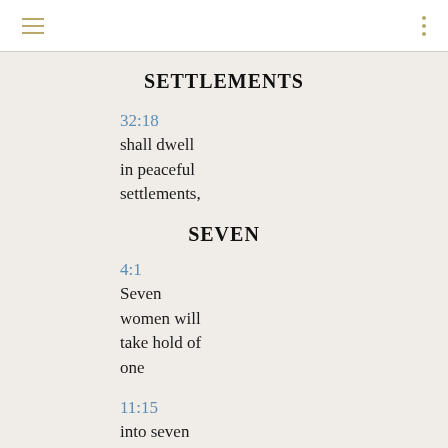SETTLEMENTS
32:18
shall dwell in peaceful settlements,
SEVEN
4:1
Seven women will take hold of one
11:15
into seven streams to provide a way